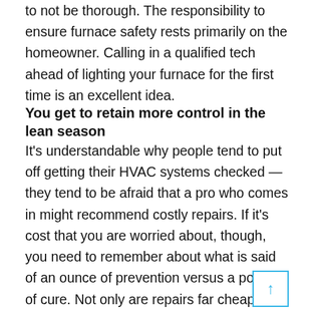to not be thorough. The responsibility to ensure furnace safety rests primarily on the homeowner. Calling in a qualified tech ahead of lighting your furnace for the first time is an excellent idea.
You get to retain more control in the lean season
It's understandable why people tend to put off getting their HVAC systems checked — they tend to be afraid that a pro who comes in might recommend costly repairs. If it's cost that you are worried about, though, you need to remember about what is said of an ounce of prevention versus a pound of cure. Not only are repairs far cheaper when you catch faults early, you get to perform them to your schedule. If a failure were to catch you